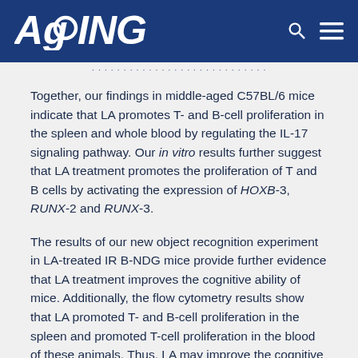AGING
Together, our findings in middle-aged C57BL/6 mice indicate that LA promotes T- and B-cell proliferation in the spleen and whole blood by regulating the IL-17 signaling pathway. Our in vitro results further suggest that LA treatment promotes the proliferation of T and B cells by activating the expression of HOXB-3, RUNX-2 and RUNX-3.
The results of our new object recognition experiment in LA-treated IR B-NDG mice provide further evidence that LA treatment improves the cognitive ability of mice. Additionally, the flow cytometry results show that LA promoted T- and B-cell proliferation in the spleen and promoted T-cell proliferation in the blood of these animals. Thus, LA may improve the cognitive ability of mice by stimulating the proliferation of lymphocytes,